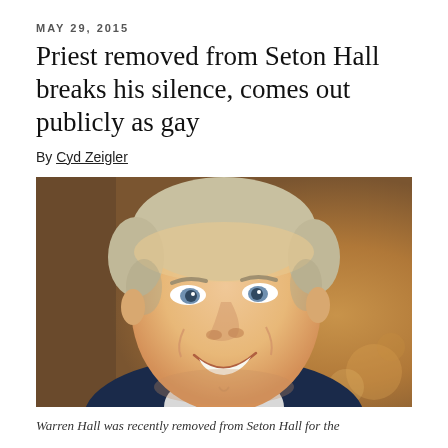MAY 29, 2015
Priest removed from Seton Hall breaks his silence, comes out publicly as gay
By Cyd Zeigler
[Figure (photo): Close-up portrait photo of Warren Hall, a middle-aged man with light gray-blond hair, smiling broadly, wearing a striped shirt and dark jacket, with a blurred warm-toned background.]
Warren Hall was recently removed from Seton Hall for the